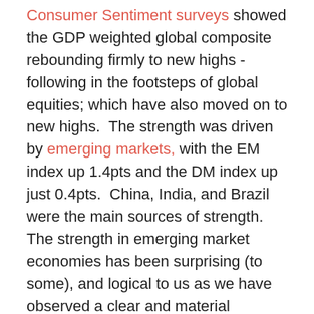Consumer Sentiment surveys showed the GDP weighted global composite rebounding firmly to new highs - following in the footsteps of global equities; which have also moved on to new highs.  The strength was driven by emerging markets, with the EM index up 1.4pts and the DM index up just 0.4pts.  China, India, and Brazil were the main sources of strength.  The strength in emerging market economies has been surprising (to some), and logical to us as we have observed a clear and material monetary policy easing in aggregate for emerging markets, rebounding global trade growth, and stable commodities and currencies.